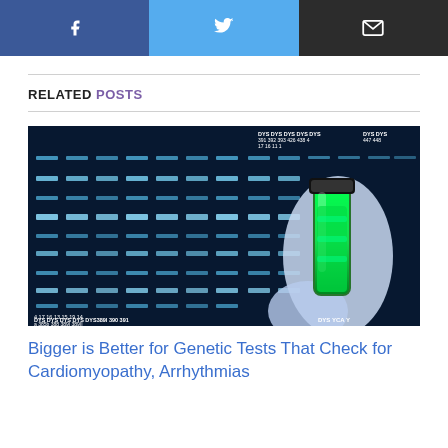[Figure (other): Social sharing buttons row: Facebook (dark blue), Twitter (light blue), Email (dark/black)]
RELATED POSTS
[Figure (photo): DNA gel electrophoresis image with labeled markers (DYS 385b, DYS 388, DYS 389I, DYS 389II, DYS 390, DYS 391, DYS 392, DYS 393, DYS 426, DYS 438, etc.) showing glowing blue bands, with a gloved hand holding a green fluorescent vial]
Bigger is Better for Genetic Tests That Check for Cardiomyopathy, Arrhythmias